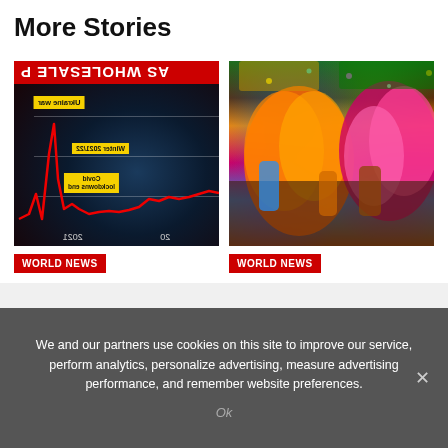More Stories
[Figure (screenshot): Mirrored/upside-down screenshot of a gas wholesale price chart with a red line graph, yellow annotation labels for 'Ukraine war', 'Winter 2021/22', 'Covid lockdowns end', and axis labels '20' and '2021' at bottom, overlaid on a gas burner background image.]
[Figure (photo): Colorful carnival crowd photo showing performers in bright orange and pink feathered costumes at what appears to be Notting Hill Carnival or similar street carnival event.]
WORLD NEWS
WORLD NEWS
We and our partners use cookies on this site to improve our service, perform analytics, personalize advertising, measure advertising performance, and remember website preferences.
Ok